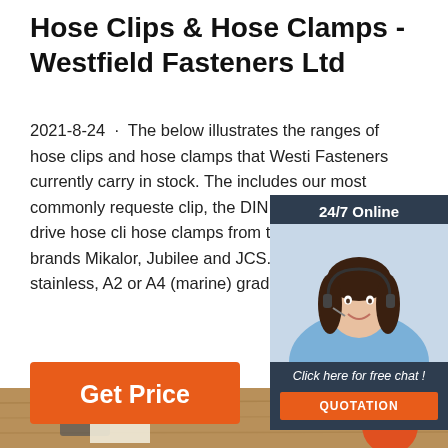Hose Clips & Hose Clamps - Westfield Fasteners Ltd
2021-8-24 · The below illustrates the ranges of hose clips and hose clamps that Westfield Fasteners currently carry in stock. The includes our most commonly requested clip, the DIN 3017 worm drive hose clamps from top industry brands Mikalor, Jubilee and JCS. Available in stainless, A2 or A4 (marine) grade ste...
[Figure (photo): Customer service representative with headset, smiling. Dark background widget showing 24/7 Online, photo of woman, Click here for free chat!, and QUOTATION button in orange.]
[Figure (illustration): Orange 'Get Price' button]
[Figure (logo): TOP icon with orange dots arranged in triangle above the word TOP in orange]
[Figure (photo): Bottom strip showing food and items on wooden table background - partially visible]